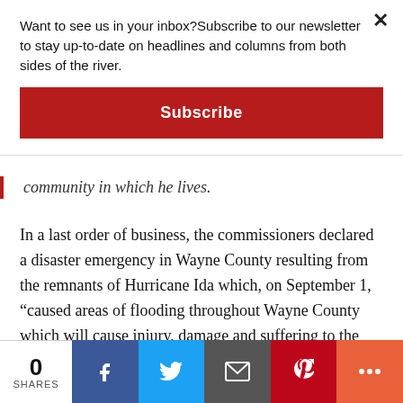Want to see us in your inbox?Subscribe to our newsletter to stay up-to-date on headlines and columns from both sides of the river.
Subscribe
community in which he lives.
In a last order of business, the commissioners declared a disaster emergency in Wayne County resulting from the remnants of Hurricane Ida which, on September 1, “caused areas of flooding throughout Wayne County which will cause injury, damage and suffering to the persons and property of Wayne County.” If losses meet the state’s storm damage threshold, the county would be eligible for PEMA funds.
0 SHARES